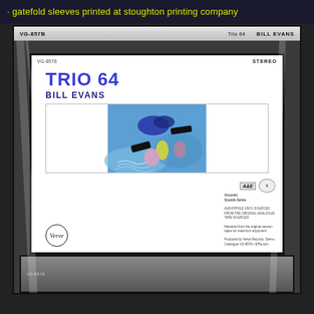· gatefold sleeves printed at stoughton printing company
[Figure (photo): Photograph of a Bill Evans 'Trio 64' vinyl record album in original shrink wrap, showing the front cover with abstract blue painting artwork, catalog number VG-8578, STEREO label, and Verve Records logo. The album is framed in a black border display case. Another album is partially visible at the bottom.]